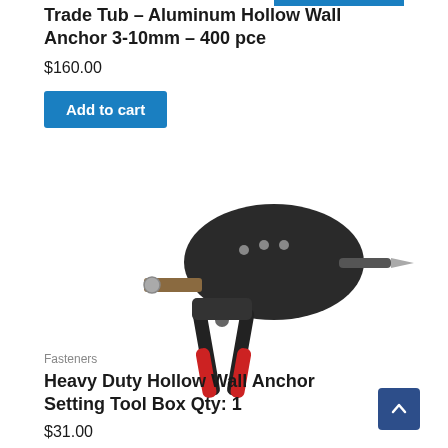Trade Tub – Aluminum Hollow Wall Anchor 3-10mm – 400 pce
$160.00
Add to cart
[Figure (photo): A hand-held heavy duty hollow wall anchor setting tool with black and red handles, resembling a rivet gun or pop rivet tool, shown against a white background.]
Fasteners
Heavy Duty Hollow Wall Anchor Setting Tool Box Qty: 1
$31.00